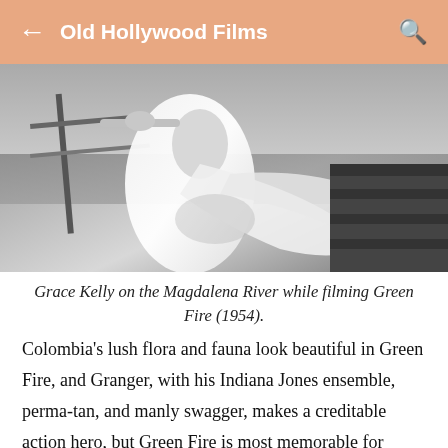Old Hollywood Films
[Figure (photo): Black and white photograph of Grace Kelly on the Magdalena River while filming Green Fire (1954). She is wearing a flowing white dress and appears to be on a boat or dock, holding a railing.]
Grace Kelly on the Magdalena River while filming Green Fire (1954).
Colombia's lush flora and fauna look beautiful in Green Fire, and Granger, with his Indiana Jones ensemble, perma-tan, and manly swagger, makes a creditable action hero, but Green Fire is most memorable for Miklos Rosza's dazzling score and the many special effects set pieces devised by